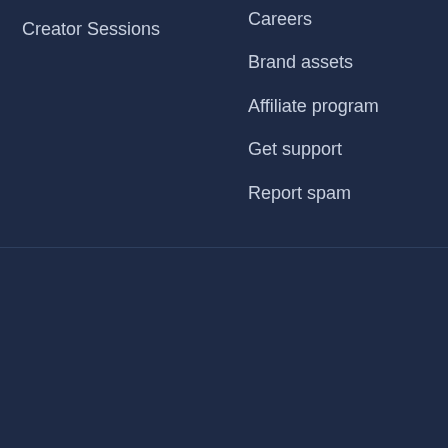Creator Sessions
Careers
Brand assets
Affiliate program
Get support
Report spam
Made with ❤ in Annapolis, MD
ConvertKit © 2022  //  Privacy Policy  Terms of Service
[Figure (other): Social media icons: YouTube, Facebook, Twitter, Instagram]